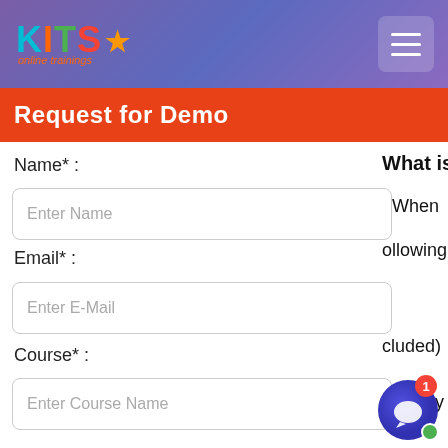KITS online trainings
Request for Demo
What is
: When
ollowing
Name* :
Enter Name
cluded)
Email* :
Enter E-Mail
Course* :
Enter Course Name
neously
Phone* :
Enter Phone Number